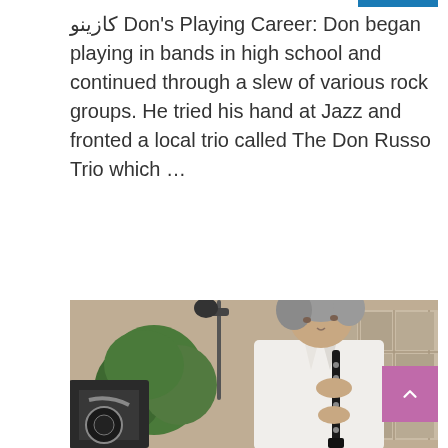کازینو Don's Playing Career: Don began playing in bands in high school and continued through a slew of various rock groups. He tried his hand at Jazz and fronted a local trio called The Don Russo Trio which …
READ MORE
[Figure (photo): A man with grey hair playing a clarinet, wearing a white shirt, performing on stage with a microphone stand visible to the left and shelving/cabinets in the background.]